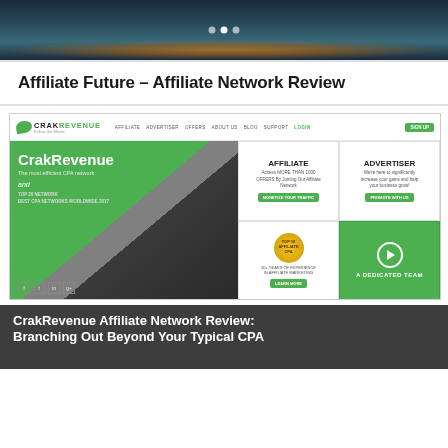[Figure (screenshot): Top banner image with dark cityscape/aerial view and navigation dots]
Affiliate Future – Affiliate Network Review
[Figure (screenshot): Screenshot of CrakRevenue affiliate network website showing navigation bar, hero section with 'CrakRevenue - The most efficient CPA network', affiliate and advertiser panels, award badge, and a dedicated team section]
CrakRevenue Affiliate Network Review: Branching Out Beyond Your Typical CPA